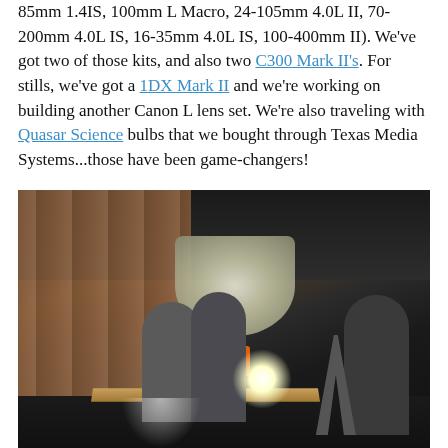85mm 1.4IS, 100mm L Macro, 24-105mm 4.0L II, 70-200mm 4.0L IS, 16-35mm 4.0L IS, 100-400mm II). We've got two of those kits, and also two C300 Mark II's. For stills, we've got a 1DX Mark II and we're working on building another Canon L lens set. We're also traveling with Quasar Science bulbs that we bought through Texas Media Systems...those have been game-changers!
[Figure (photo): A film/video production crew working in an industrial warehouse studio. Two people work at a table with an orange toolbox on it, while a large softbox light illuminates the scene. A third person stands to the right near camera equipment. The walls are OSB/plywood panels.]